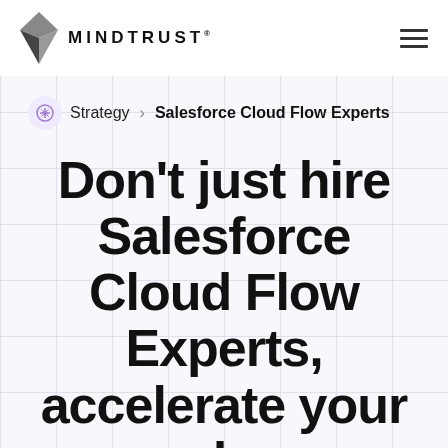MINDTRUST
Strategy > Salesforce Cloud Flow Experts
Don't just hire Salesforce Cloud Flow Experts, accelerate your roadmap